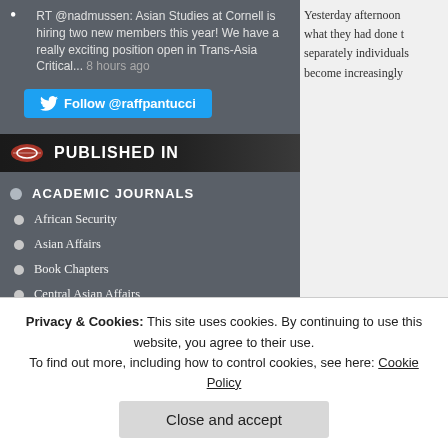RT @nadmussen: Asian Studies at Cornell is hiring two new members this year! We have a really exciting position open in Trans-Asia Critical... 8 hours ago
[Figure (other): Twitter Follow button: Follow @raffpantucci]
[Figure (other): Published In banner with frisbee/disc icon]
ACADEMIC JOURNALS
African Security
Asian Affairs
Book Chapters
Central Asian Affairs
China Analysis
China Economic Quarterly
Current History
Current Trends in Islamist Ideology
Yesterday afternoon what they had done t separately individuals become increasingly
Privacy & Cookies: This site uses cookies. By continuing to use this website, you agree to their use.
To find out more, including how to control cookies, see here: Cookie Policy
Close and accept